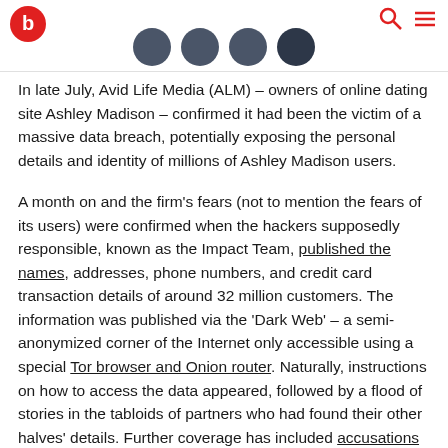[Site logo and navigation header with social icons]
In late July, Avid Life Media (ALM) – owners of online dating site Ashley Madison – confirmed it had been the victim of a massive data breach, potentially exposing the personal details and identity of millions of Ashley Madison users.
A month on and the firm's fears (not to mention the fears of its users) were confirmed when the hackers supposedly responsible, known as the Impact Team, published the names, addresses, phone numbers, and credit card transaction details of around 32 million customers. The information was published via the 'Dark Web' – a semi-anonymized corner of the Internet only accessible using a special Tor browser and Onion router. Naturally, instructions on how to access the data appeared, followed by a flood of stories in the tabloids of partners who had found their other halves' details. Further coverage has included accusations that the leak was an inside job and deeper social reflection as to how or why many people actually use the site.